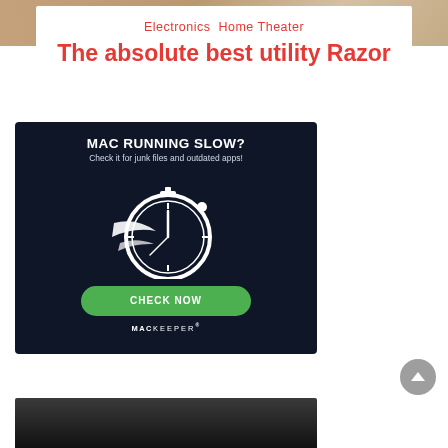[Figure (photo): Cropped top portion of a webpage showing a background image (reddish-brown/wood surface) with a white overlay box]
Electronics Home Theater
The absolute best utility Razor
[Figure (screenshot): MacKeeper advertisement banner with dark navy background. Text: MAC RUNNING SLOW? Check it for junk files and outdated apps! A white stopwatch/speedometer logo. Green button: CHECK NOW. Brand: MACKEEPER]
[Figure (photo): Bottom partial image showing dark background, possibly a product or home theater speaker]